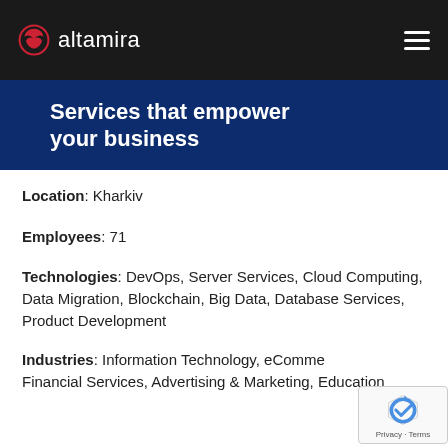altamira
Services that empower your business
Location: Kharkiv
Employees: 71
Technologies: DevOps, Server Services, Cloud Computing, Data Migration, Blockchain, Big Data, Database Services, Product Development
Industries: Information Technology, eCommerce, Financial Services, Advertising & Marketing, Education